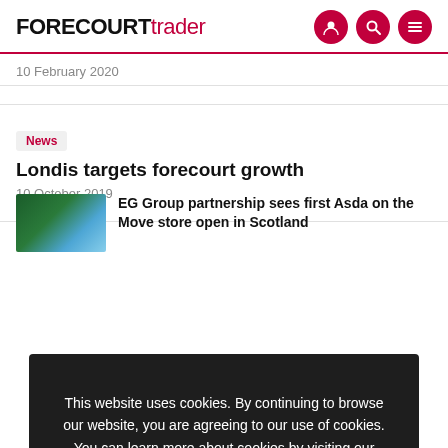FORECOURTtrader
10 February 2020
News
Londis targets forecourt growth
10 October 2019
This website uses cookies. By continuing to browse our website, you are agreeing to our use of cookies. You can learn more about cookies by visiting our privacy & cookies policy page.
OK
M
EG Group partnership sees first Asda on the Move store open in Scotland